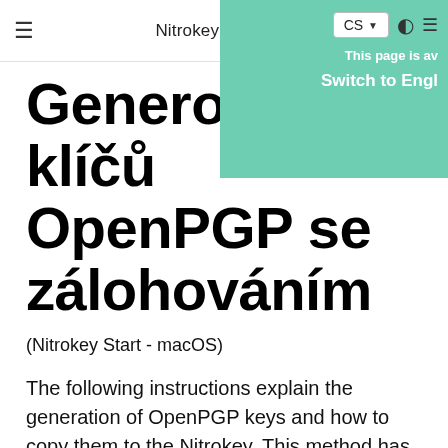Nitrokey Documentation
Generování klíčů OpenPGP se zálohováním
(Nitrokey Start - macOS)
The following instructions explain the generation of OpenPGP keys and how to copy them to the Nitrokey. This method has the advantage of providing a backup of the keys in case of losing or breaking the Nitrokey. The instructions are based on